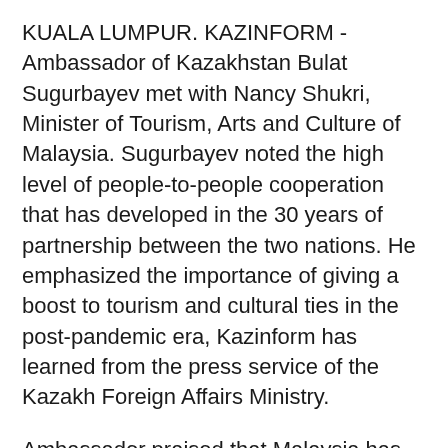KUALA LUMPUR. KAZINFORM - Ambassador of Kazakhstan Bulat Sugurbayev met with Nancy Shukri, Minister of Tourism, Arts and Culture of Malaysia. Sugurbayev noted the high level of people-to-people cooperation that has developed in the 30 years of partnership between the two nations. He emphasized the importance of giving a boost to tourism and cultural ties in the post-pandemic era, Kazinform has learned from the press service of the Kazakh Foreign Affairs Ministry.
Ambassador praised that Malaysia has been one of the top destinations for tourists from Kazakhstan, the country can be of particular